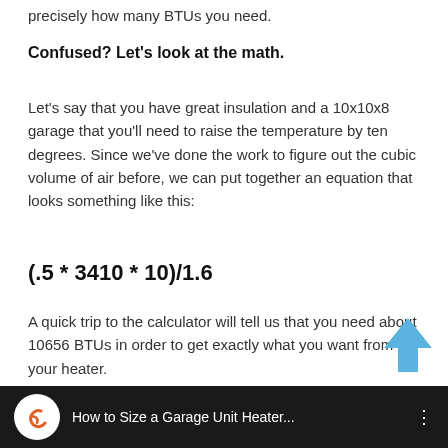precisely how many BTUs you need.
Confused? Let's look at the math.
Let's say that you have great insulation and a 10x10x8 garage that you'll need to raise the temperature by ten degrees. Since we've done the work to figure out the cubic volume of air before, we can put together an equation that looks something like this:
A quick trip to the calculator will tell us that you need about 10656 BTUs in order to get exactly what you want from your heater.
[Figure (screenshot): Video thumbnail bar showing 'How to Size a Garage Unit Heater...' with a logo and three-dot menu icon on dark background]